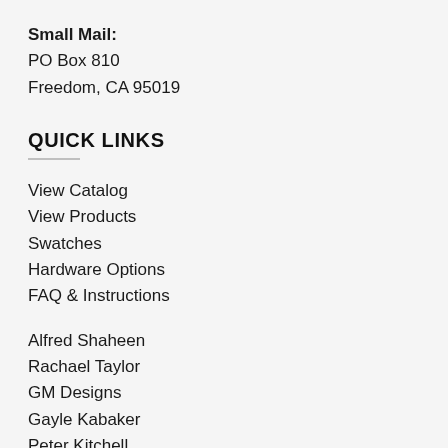Small Mail: PO Box 810 Freedom, CA 95019
QUICK LINKS
View Catalog
View Products
Swatches
Hardware Options
FAQ & Instructions
Alfred Shaheen
Rachael Taylor
GM Designs
Gayle Kabaker
Peter Kitchell